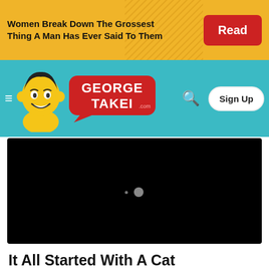Women Break Down The Grossest Thing A Man Has Ever Said To Them | Read
[Figure (screenshot): GeorgeTakei.com website navigation bar with cartoon mascot logo, hamburger menu, search icon, and Sign Up button on teal background]
[Figure (screenshot): Black video player embed with two small circular dots/controls visible]
It All Started With A Cat